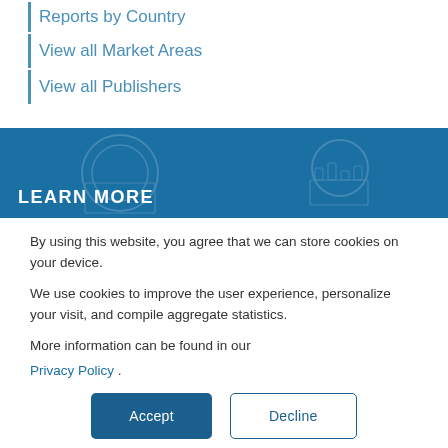Reports by Country
View all Market Areas
View all Publishers
LEARN MORE
By using this website, you agree that we can store cookies on your device.
We use cookies to improve the user experience, personalize your visit, and compile aggregate statistics.
More information can be found in our Privacy Policy .